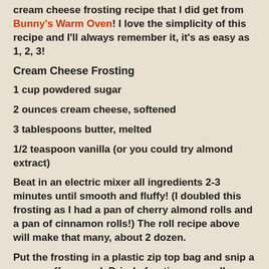cream cheese frosting recipe that I did get from Bunny's Warm Oven!  I love the simplicity of this recipe and I'll always remember it, it's as easy as 1, 2, 3!
Cream Cheese Frosting
1 cup powdered sugar
2 ounces cream cheese, softened
3 tablespoons butter, melted
1/2 teaspoon vanilla (or you could try almond extract)
Beat in an electric mixer all ingredients 2-3 minutes until smooth and fluffy!  (I doubled this frosting as I had a pan of cherry almond rolls and a pan of cinnamon rolls!)  The roll recipe above will make that many, about 2 dozen.
Put the frosting in a plastic zip top bag and snip a corner off one end.  Drizzle frosting over rolls.  Sprinkle toasted almonds over the top.